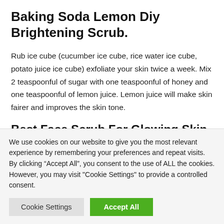Baking Soda Lemon Diy Brightening Scrub.
Rub ice cube (cucumber ice cube, rice water ice cube, potato juice ice cube) exfoliate your skin twice a week. Mix 2 teaspoonful of sugar with one teaspoonful of honey and one teaspoonful of lemon juice. Lemon juice will make skin fairer and improves the skin tone.
Best Face Scrub For Glowing Skin
We use cookies on our website to give you the most relevant experience by remembering your preferences and repeat visits. By clicking “Accept All”, you consent to the use of ALL the cookies. However, you may visit "Cookie Settings" to provide a controlled consent.